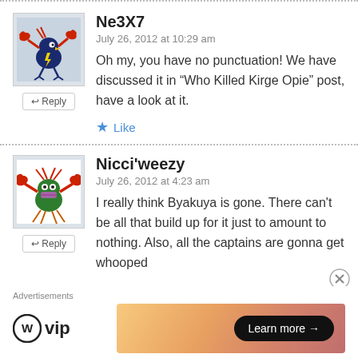Ne3X7
July 26, 2012 at 10:29 am
Oh my, you have no punctuation! We have discussed it in “Who Killed Kirge Opie” post, have a look at it.
Like
Nicci'weezy
July 26, 2012 at 4:23 am
I really think Byakuya is gone. There can't be all that build up for it just to amount to nothing. Also, all the captains are gonna get whooped
Advertisements
vip
Learn more →